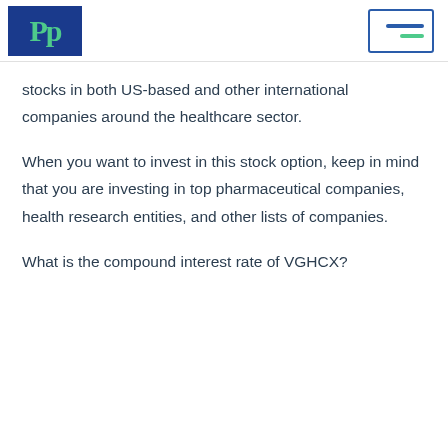PP [logo] | menu icon
stocks in both US-based and other international companies around the healthcare sector.
When you want to invest in this stock option, keep in mind that you are investing in top pharmaceutical companies, health research entities, and other lists of companies.
What is the compound interest rate of VGHCX?